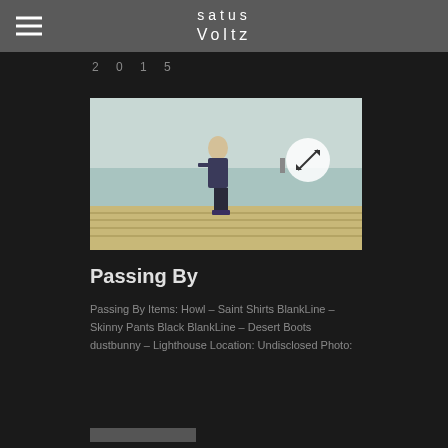Satus Voltz
2 0 1 5
[Figure (photo): A person in dark clothing walking on a wooden pier/boardwalk with a hazy water background and a small lighthouse or buoy in the distance. An expand/resize icon circle is overlaid on the upper right of the image.]
Passing By
Passing By Items: Howl – Saint Shirts BlankLine – Skinny Pants Black BlankLine – Desert Boots dustbunny – Lighthouse Location: Undisclosed Photo: